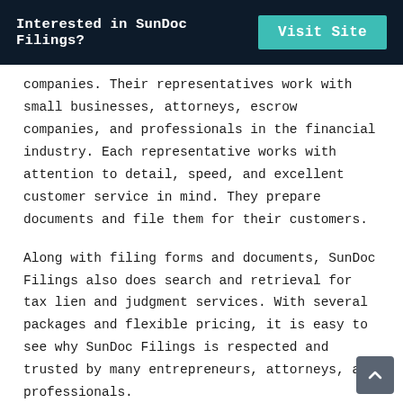Interested in SunDoc Filings? Visit Site
companies. Their representatives work with small businesses, attorneys, escrow companies, and professionals in the financial industry. Each representative works with attention to detail, speed, and excellent customer service in mind. They prepare documents and file them for their customers.
Along with filing forms and documents, SunDoc Filings also does search and retrieval for tax lien and judgment services. With several packages and flexible pricing, it is easy to see why SunDoc Filings is respected and trusted by many entrepreneurs, attorneys, and professionals.